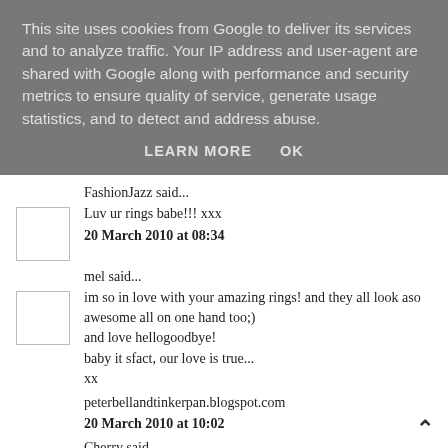This site uses cookies from Google to deliver its services and to analyze traffic. Your IP address and user-agent are shared with Google along with performance and security metrics to ensure quality of service, generate usage statistics, and to detect and address abuse.
LEARN MORE   OK
FashionJazz said...
Luv ur rings babe!!! xxx
20 March 2010 at 08:34
mel said...
im so in love with your amazing rings! and they all look aso awesome all on one hand too;)
and love hellogoodbye!
baby it sfact, our love is true...
xx
peterbellandtinkerpan.blogspot.com
20 March 2010 at 10:02
Cherry said...
Wow, those rings are gorgeous and it looks like